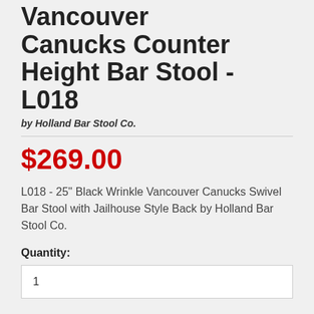Vancouver Canucks Counter Height Bar Stool - L018
by Holland Bar Stool Co.
$269.00
L018 - 25" Black Wrinkle Vancouver Canucks Swivel Bar Stool with Jailhouse Style Back by Holland Bar Stool Co.
Quantity:
1